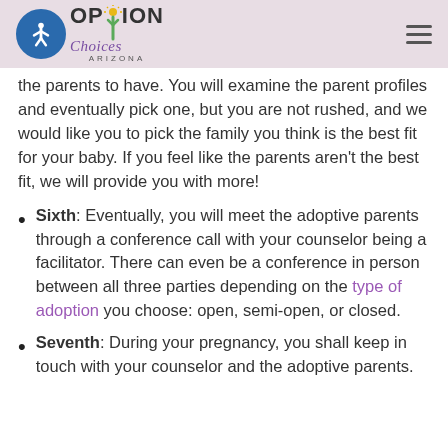Option Choices Arizona
the parents to have. You will examine the parent profiles and eventually pick one, but you are not rushed, and we would like you to pick the family you think is the best fit for your baby. If you feel like the parents aren't the best fit, we will provide you with more!
Sixth: Eventually, you will meet the adoptive parents through a conference call with your counselor being a facilitator. There can even be a conference in person between all three parties depending on the type of adoption you choose: open, semi-open, or closed.
Seventh: During your pregnancy, you shall keep in touch with your counselor and the adoptive parents.